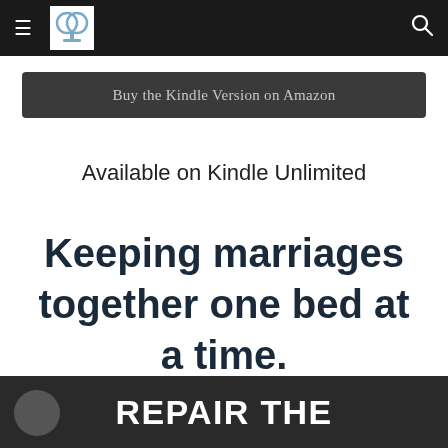≡ [logo] 🔍
Buy the Kindle Version on Amazon
Available on Kindle Unlimited
Keeping marriages together one bed at a time.
REPAIR THE